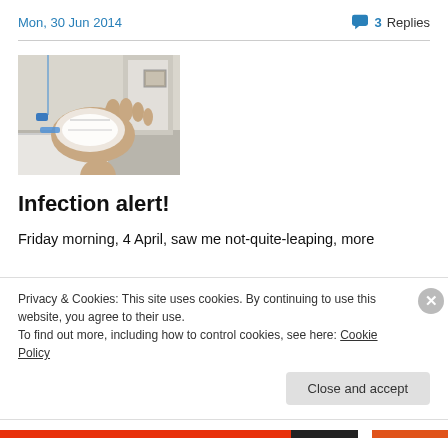Mon, 30 Jun 2014   💬 3 Replies
[Figure (photo): A hand with medical dressing/bandage wrapped around it, in a room setting]
Infection alert!
Friday morning, 4 April, saw me not-quite-leaping, more
Privacy & Cookies: This site uses cookies. By continuing to use this website, you agree to their use. To find out more, including how to control cookies, see here: Cookie Policy
Close and accept